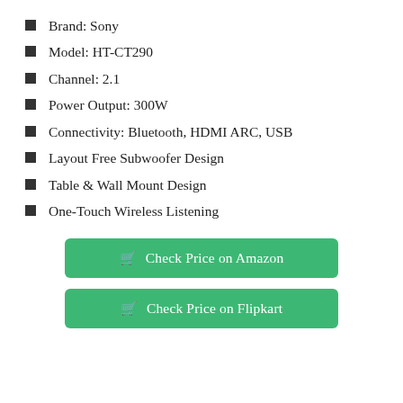Brand: Sony
Model: HT-CT290
Channel: 2.1
Power Output: 300W
Connectivity: Bluetooth, HDMI ARC, USB
Layout Free Subwoofer Design
Table & Wall Mount Design
One-Touch Wireless Listening
Check Price on Amazon
Check Price on Flipkart